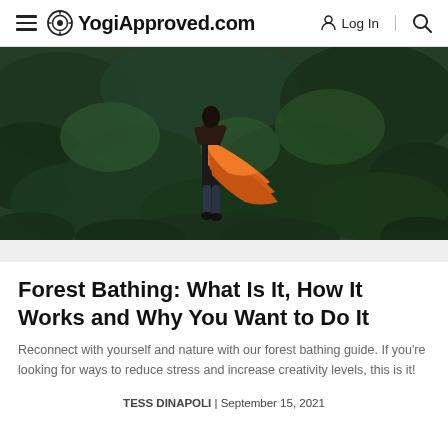YogiApproved.com — Log In — Search
[Figure (photo): A person wearing an orange flowing garment stands among dense green ferns in a forest, viewed from behind, arms outstretched.]
Forest Bathing: What Is It, How It Works and Why You Want to Do It
Reconnect with yourself and nature with our forest bathing guide. If you're looking for ways to reduce stress and increase creativity levels, this is it!
TESS DINAPOLI | September 15, 2021